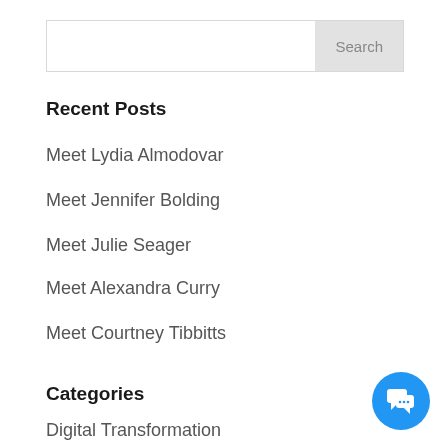[Figure (screenshot): Search bar with text input field and Search button]
Recent Posts
Meet Lydia Almodovar
Meet Jennifer Bolding
Meet Julie Seager
Meet Alexandra Curry
Meet Courtney Tibbitts
Categories
Digital Transformation
Employer Branding
High-Volume Recruiting
Interviewing